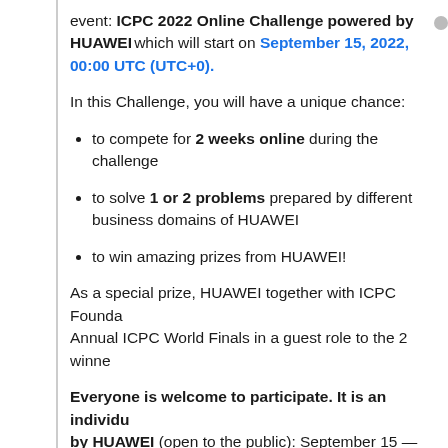event: ICPC 2022 Online Challenge powered by HUAWEI which will start on September 15, 2022, 00:00 UTC (UTC+0).
In this Challenge, you will have a unique chance:
to compete for 2 weeks online during the challenge
to solve 1 or 2 problems prepared by different business domains of HUAWEI
to win amazing prizes from HUAWEI!
As a special prize, HUAWEI together with ICPC Founda Annual ICPC World Finals in a guest role to the 2 winne
Everyone is welcome to participate. It is an individu by HUAWEI (open to the public): September 15 — Sept